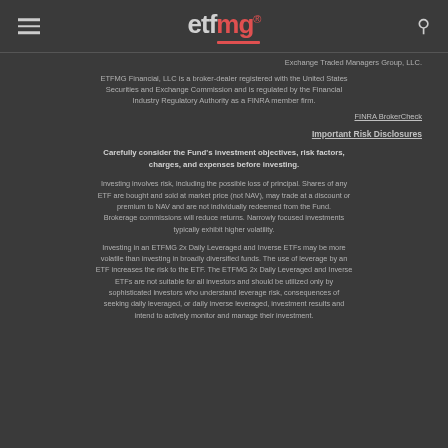etfmg logo header with hamburger menu and search icon
Exchange Traded Managers Group, LLC.
ETFMG Financial, LLC is a broker-dealer registered with the United States Securities and Exchange Commission and is regulated by the Financial Industry Regulatory Authority as a FINRA member firm.
FINRA BrokerCheck
Important Risk Disclosures
Carefully consider the Fund's investment objectives, risk factors, charges, and expenses before investing.
Investing involves risk, including the possible loss of principal. Shares of any ETF are bought and sold at market price (not NAV), may trade at a discount or premium to NAV and are not individually redeemed from the Fund. Brokerage commissions will reduce returns. Narrowly focused investments typically exhibit higher volatility.
Investing in an ETFMG 2x Daily Leveraged and Inverse ETFs may be more volatile than investing in broadly diversified funds. The use of leverage by an ETF increases the risk to the ETF. The ETFMG 2x Daily Leveraged and Inverse ETFs are not suitable for all investors and should be utilized only by sophisticated investors who understand leverage risk, consequences of seeking daily leveraged, or daily inverse leveraged, investment results and intend to actively monitor and manage their investment.